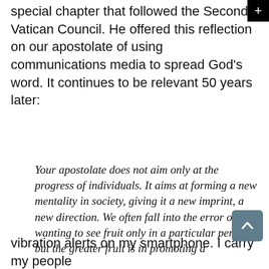special chapter that followed the Second Vatican Council. He offered this reflection on our apostolate of using communications media to spread God's word. It continues to be relevant 50 years later:
Your apostolate does not aim only at the progress of individuals. It aims at forming a new mentality in society, giving it a new imprint, a new direction. We often fall into the error of wanting to see fruit only in a particular person, but the greater fruit is in promoting a
[Figure (screenshot): Cookie consent banner overlay on black background with 'Got it!' yellow button and 'Learn more' link]
vibration alerts on my smartphone. I carry my people